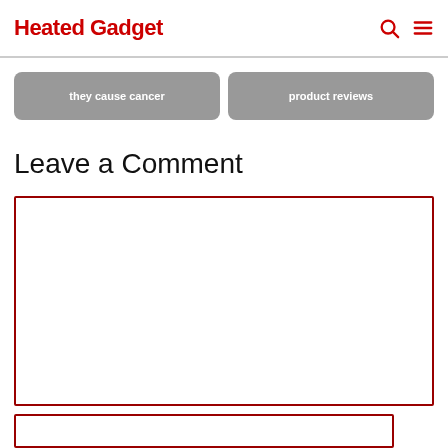Heated Gadget
[Figure (screenshot): Two partially visible grey rounded card/button elements with white text, cropped at top]
Leave a Comment
[Figure (screenshot): Large red-bordered comment textarea input field, empty]
[Figure (screenshot): Red-bordered text input field, partially visible at bottom]